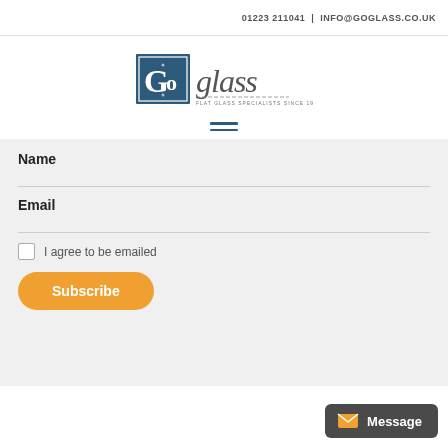01223 211041 | INFO@GOGLASS.CO.UK
[Figure (logo): Go Glass logo — flat glass specialists since 1976]
[Figure (other): Hamburger navigation menu icon (two horizontal lines)]
Name
Email
I agree to be emailed
Subscribe
Message